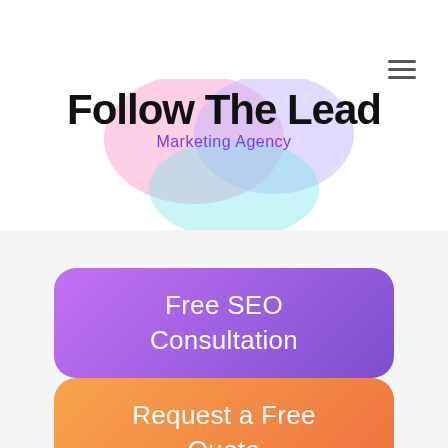[Figure (logo): Follow The Lead Marketing Agency logo with colorful blob shapes behind large bold text and purple subtitle]
Free SEO Consultation
Request a Free Quote